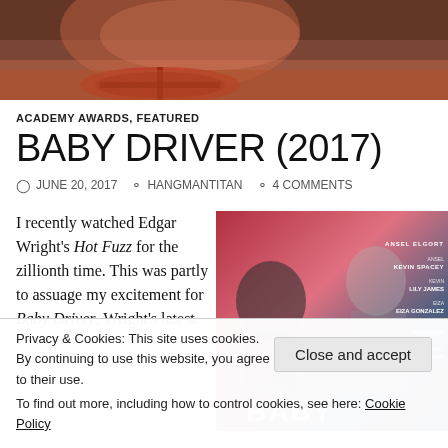[Figure (photo): Top banner photo showing a person in a car, warm reddish tones]
ACADEMY AWARDS, FEATURED
BABY DRIVER (2017)
JUNE 20, 2017   HANGMANTITAN   4 COMMENTS
I recently watched Edgar Wright's Hot Fuzz for the zillionth time. This was partly to assuage my excitement for Baby Driver, Wright's latest,
[Figure (photo): Baby Driver (2017) movie poster featuring cast members including Ansel Elgort, Kevin Spacey, Lily James, Eiza Gonzalez, Jon Hamm, Jamie Foxx]
Privacy & Cookies: This site uses cookies. By continuing to use this website, you agree to their use.
To find out more, including how to control cookies, see here: Cookie Policy